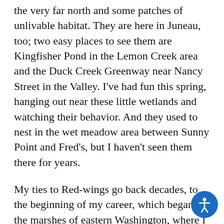the very far north and some patches of unlivable habitat. They are here in Juneau, too; two easy places to see them are Kingfisher Pond in the Lemon Creek area and the Duck Creek Greenway near Nancy Street in the Valley. I've had fun this spring, hanging out near these little wetlands and watching their behavior. And they used to nest in the wet meadow area between Sunny Point and Fred's, but I haven't seen them there for years.
My ties to Red-wings go back decades, to the beginning of my career, which began in the marshes of eastern Washington, where I studied yellow-headed blackbirds that nested in the same marshes as red-wings. The two species are interspecifically territorial, defending territory borders against each other as well as against members of their own species. Both species are often polygynous: a male's